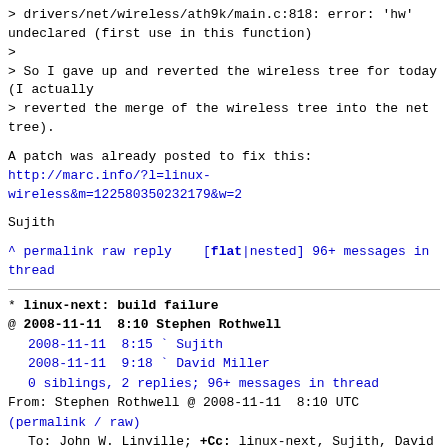> drivers/net/wireless/ath9k/main.c:818: error: 'hw' undeclared (first use in this function)
>
> So I gave up and reverted the wireless tree for today (I actually
> reverted the merge of the wireless tree into the net tree).
A patch was already posted to fix this:
http://marc.info/?l=linux-wireless&m=122580350232179&w=2
Sujith
^ permalink raw reply  [flat|nested] 96+ messages in thread
* linux-next: build failure
@ 2008-11-11  8:10 Stephen Rothwell
  2008-11-11  8:15 ` Sujith
  2008-11-11  9:18 ` David Miller
  0 siblings, 2 replies; 96+ messages in thread
From: Stephen Rothwell @ 2008-11-11  8:10 UTC
(permalink / raw)
  To: John W. Linville; +Cc: linux-next, Sujith, David S. Miller
Hi John, Dave,